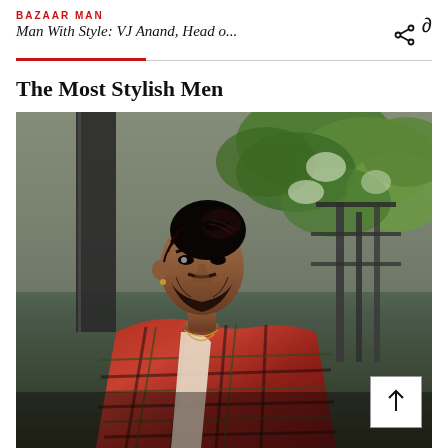BAZAAR MAN
Man With Style: VJ Anand, Head o...
The Most Stylish Men
[Figure (photo): A stylishly dressed man with braided hair in a bun and a beard, wearing a red plaid flannel shirt over a white t-shirt with a gold chain necklace, photographed outdoors against a background of green foliage and dark metal railings. A scroll-up button with an upward arrow is overlaid in the bottom right corner of the photo.]